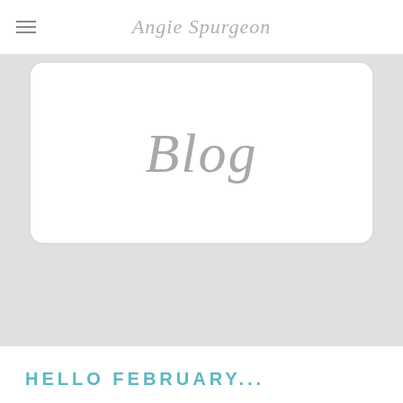Angie Spurgeon
[Figure (other): Blog banner with white rounded card containing cursive 'Blog' text on a light gray background]
HELLO FEBRUARY...